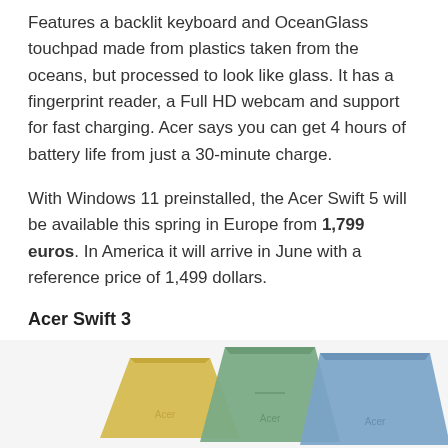Features a backlit keyboard and OceanGlass touchpad made from plastics taken from the oceans, but processed to look like glass. It has a fingerprint reader, a Full HD webcam and support for fast charging. Acer says you can get 4 hours of battery life from just a 30-minute charge.
With Windows 11 preinstalled, the Acer Swift 5 will be available this spring in Europe from 1,799 euros. In America it will arrive in June with a reference price of 1,499 dollars.
Acer Swift 3
If the previous one is out of your budget, Acer will sell a lower level model, but also updated with Intel's Alder Lake-P processors. With FHD panels, it also supports up to 16 GB of LPDDR5 RAM and PCIe 4.0 SSD up to 2 Tbytes, it has the same connectivity except for the Thunderbolt ports.
[Figure (photo): Photo of multiple Acer Swift 3 laptops in different colors (yellow, green, blue) shown from the back/top angle, partially cropped at bottom of page.]